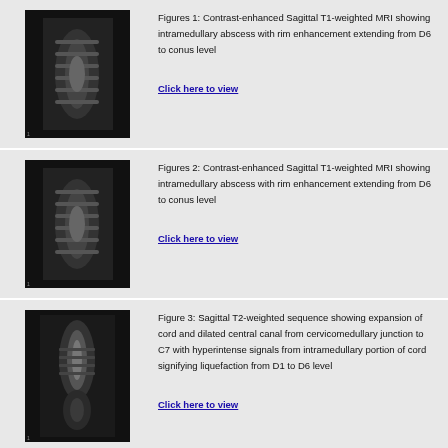[Figure (photo): MRI sagittal image of spine showing intramedullary abscess, row 1]
Figures 1: Contrast-enhanced Sagittal T1-weighted MRI showing intramedullary abscess with rim enhancement extending from D6 to conus level
[Figure (photo): MRI sagittal image of spine showing intramedullary abscess, row 2]
Figures 2: Contrast-enhanced Sagittal T1-weighted MRI showing intramedullary abscess with rim enhancement extending from D6 to conus level
[Figure (photo): MRI sagittal image of cervical spine showing expansion of cord and dilated central canal]
Figure 3: Sagittal T2-weighted sequence showing expansion of cord and dilated central canal from cervicomedullary junction to C7 with hyperintense signals from intramedullary portion of cord signifying liquefaction from D1 to D6 level